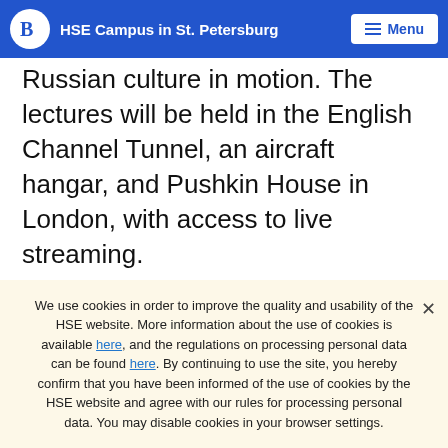HSE Campus in St. Petersburg | Menu
Russian culture in motion. The lectures will be held in the English Channel Tunnel, an aircraft hangar, and Pushkin House in London, with access to live streaming.
Photo courtesy of Margarita Kuleva
The Arrival project (which encompasses a series of
We use cookies in order to improve the quality and usability of the HSE website. More information about the use of cookies is available here, and the regulations on processing personal data can be found here. By continuing to use the site, you hereby confirm that you have been informed of the use of cookies by the HSE website and agree with our rules for processing personal data. You may disable cookies in your browser settings.